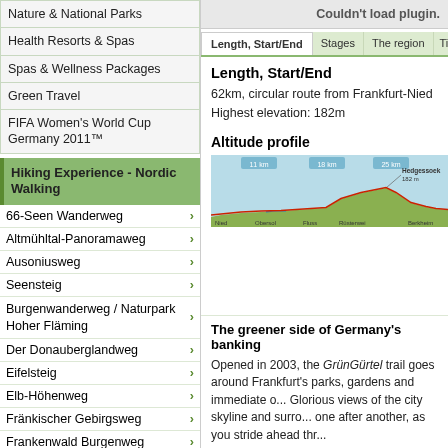| Nature & National Parks |
| Health Resorts & Spas |
| Spas & Wellness Packages |
| Green Travel |
| FIFA Women's World Cup Germany 2011™ |
Hiking Experience - Nordic Walking
66-Seen Wanderweg
Altmühltal-Panoramaweg
Ausoniusweg
Seensteig
Burgenwanderweg / Naturpark Hoher Fläming
Der Donauberglandweg
Eifelsteig
Elb-Höhenweg
Fränkischer Gebirgsweg
Frankenwald Burgenweg
Gipfelwanderweg Suhl
Goethewanderweg Ilmenau
Goldsteig
GrünGürtel Rundwanderweg
Harzer-Hexen-Stieg
Hermannshöhen
Couldn't load plugin.
Length, Start/End | Stages | The region | Tip
Length, Start/End
62km, circular route from Frankfurt-Nied
Highest elevation: 182m
Altitude profile
[Figure (continuous-plot): Altitude profile chart showing elevation along the GrünGürtel Rundwanderweg route, with labels including Nied, Obersol, Fluss, Rüsterwei, Hedgessoek (182m), and Berkheim along the x-axis.]
The greener side of Germany's banking
Opened in 2003, the GrünGürtel trail goes around Frankfurt's parks, gardens and immediate o... Glorious views of the city skyline and surro... one after another, as you stride ahead thr...